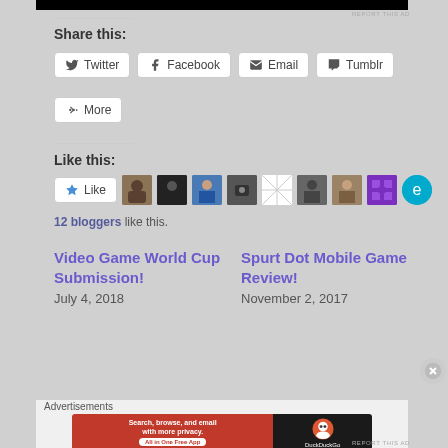[Figure (screenshot): Black video/ad banner at top of page]
REPORT THIS AD
Share this:
Twitter
Facebook
Email
Tumblr
More
Like this:
[Figure (screenshot): Like button with star icon and 9 blogger avatar thumbnails]
12 bloggers like this.
Video Game World Cup Submission!
July 4, 2018
Spurt Dot Mobile Game Review!
November 2, 2017
Advertisements
[Figure (screenshot): DuckDuckGo advertisement banner: Search, browse, and email with more privacy. All in One Free App]